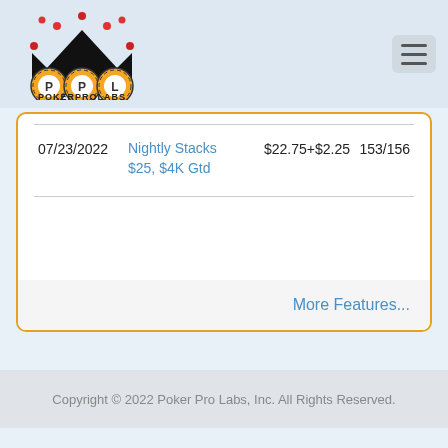PokerProLabs logo and navigation
| Date | Tournament | Buy-in | Rank |
| --- | --- | --- | --- |
| 07/23/2022 | Nightly Stacks $25, $4K Gtd | $22.75+$2.25 | 153/156 |
More Features...
Copyright © 2022 Poker Pro Labs, Inc. All Rights Reserved.